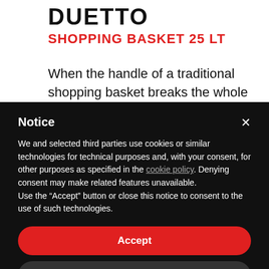DUETTO
SHOPPING BASKET 25 LT
When the handle of a traditional shopping basket breaks the whole
Notice
We and selected third parties use cookies or similar technologies for technical purposes and, with your consent, for other purposes as specified in the cookie policy. Denying consent may make related features unavailable.
Use the “Accept” button or close this notice to consent to the use of such technologies.
Accept
Learn more and customise